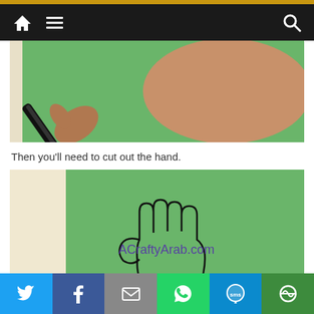Navigation bar with home, menu, and search icons
[Figure (photo): A hand holding a black marker/pen tracing on green paper, close-up showing forearm and hand]
Then you'll need to cut out the hand.
[Figure (photo): Green paper with an outline of a hand drawn on it, with ACraftyArab.com watermark]
Social sharing bar: Twitter, Facebook, Email, WhatsApp, SMS, More